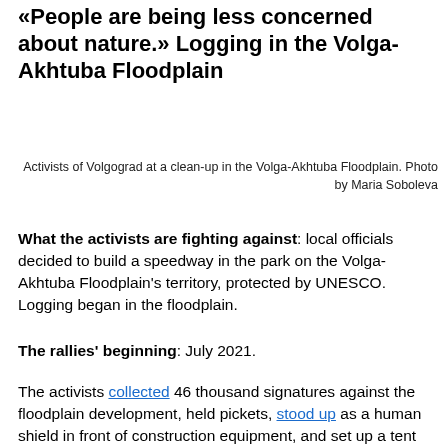«People are being less concerned about nature.» Logging in the Volga-Akhtuba Floodplain
Activists of Volgograd at a clean-up in the Volga-Akhtuba Floodplain. Photo by Maria Soboleva
What the activists are fighting against: local officials decided to build a speedway in the park on the Volga-Akhtuba Floodplain's territory, protected by UNESCO. Logging began in the floodplain.
The rallies' beginning: July 2021.
The activists collected 46 thousand signatures against the floodplain development, held pickets, stood up as a human shield in front of construction equipment, and set up a tent camp, which was dispersed by the